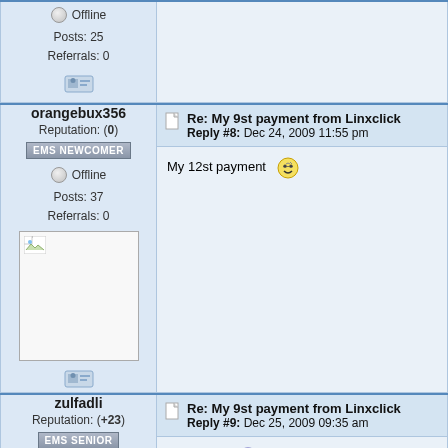Offline
Posts: 25
Referrals: 0
orangebux356
Reputation: (0)
EMS NEWCOMER
Offline
Posts: 37
Referrals: 0
Re: My 9st payment from Linxclick
Reply #8: Dec 24, 2009 11:55 pm
My 12st payment
zulfadli
Reputation: (+23)
EMS SENIOR
Offline
Gender:
Re: My 9st payment from Linxclick
Reply #9: Dec 25, 2009 09:35 am
Congrats !